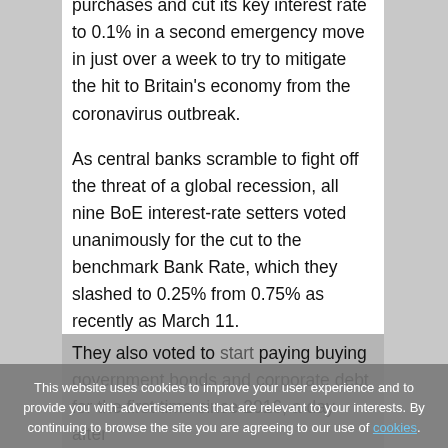purchases and cut its key interest rate to 0.1% in a second emergency move in just over a week to try to mitigate the hit to Britain's economy from the coronavirus outbreak.
As central banks scramble to fight off the threat of a global recession, all nine BoE interest-rate setters voted unanimously for the cut to the benchmark Bank Rate, which they slashed to 0.25% from 0.75% as recently as March 11.
They also voted to start buying government bonds and corporate debt for the first time since 2016, a day after
This website uses cookies to improve your user experience and to provide you with advertisements that are relevant to your interests. By continuing to browse the site you are agreeing to our use of cookies.